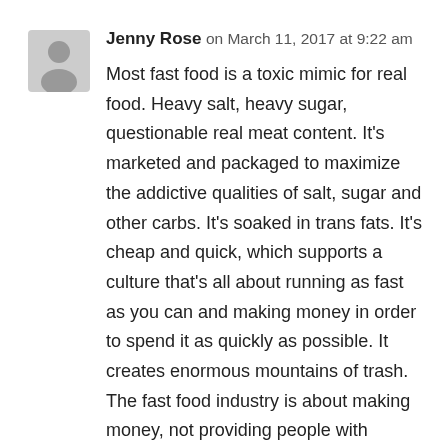Jenny Rose on March 11, 2017 at 9:22 am
Most fast food is a toxic mimic for real food. Heavy salt, heavy sugar, questionable real meat content. It's marketed and packaged to maximize the addictive qualities of salt, sugar and other carbs. It's soaked in trans fats. It's cheap and quick, which supports a culture that's all about running as fast as you can and making money in order to spend it as quickly as possible. It creates enormous mountains of trash. The fast food industry is about making money, not providing people with healthy and convenient food.
No, you can't tell about someone's political beliefs based on the food they